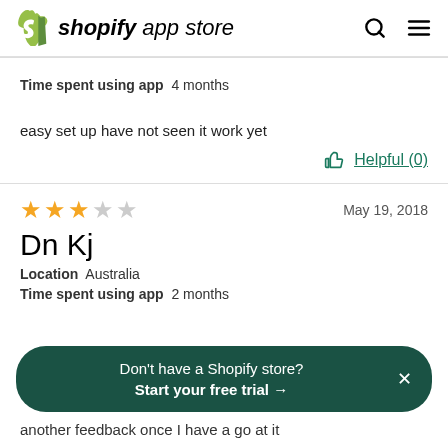shopify app store
Time spent using app  4 months
easy set up have not seen it work yet
Helpful (0)
★★★☆☆  May 19, 2018
Dn Kj
Location  Australia
Time spent using app  2 months
Don't have a Shopify store? Start your free trial →
another feedback once I have a go at it